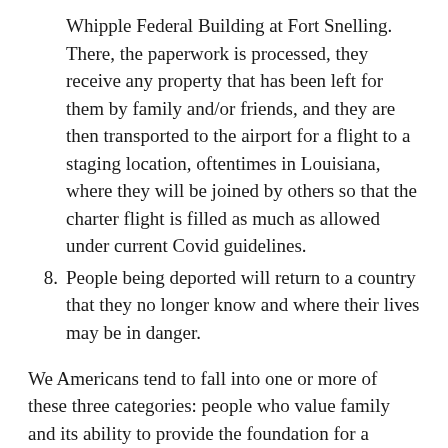Whipple Federal Building at Fort Snelling. There, the paperwork is processed, they receive any property that has been left for them by family and/or friends, and they are then transported to the airport for a flight to a staging location, oftentimes in Louisiana, where they will be joined by others so that the charter flight is filled as much as allowed under current Covid guidelines.
8. People being deported will return to a country that they no longer know and where their lives may be in danger.
We Americans tend to fall into one or more of these three categories: people who value family and its ability to provide the foundation for a healthy, successful life; people of faith; law-and-order people.